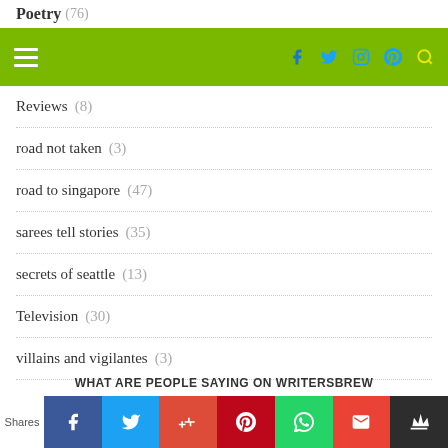Poetry (76)
Reviews (8)
road not taken (3)
road to singapore (47)
sarees tell stories (35)
secrets of seattle (13)
Television (30)
villains and vigilantes (3)
WHAT ARE PEOPLE SAYING ON WRITERSBREW